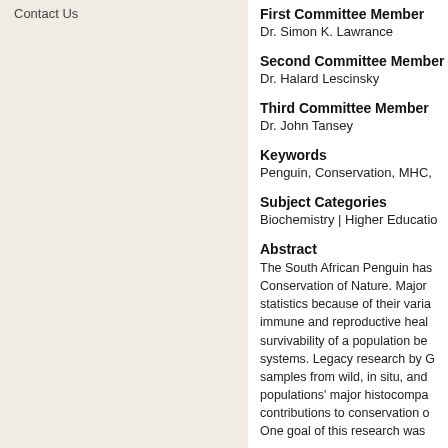Contact Us
First Committee Member
Dr. Simon K. Lawrance
Second Committee Member
Dr. Halard Lescinsky
Third Committee Member
Dr. John Tansey
Keywords
Penguin, Conservation, MHC,
Subject Categories
Biochemistry | Higher Educatio
Abstract
The South African Penguin has Conservation of Nature. Major statistics because of their varia immune and reproductive heal survivability of a population be systems. Legacy research by G samples from wild, in situ, and populations' major histocompa contributions to conservation o One goal of this research was